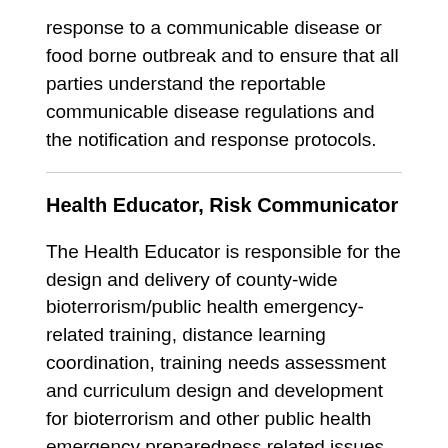response to a communicable disease or food borne outbreak and to ensure that all parties understand the reportable communicable disease regulations and the notification and response protocols.
Health Educator, Risk Communicator
The Health Educator is responsible for the design and delivery of county-wide bioterrorism/public health emergency-related training, distance learning coordination, training needs assessment and curriculum design and development for bioterrorism and other public health emergency preparedness related issues. The Health Educator collaborates with multiple stakeholders from public health, law enforcement, medical personnel, first responders, emergency managers and others to design, develop and deliver training programs for various focus areas. Training sessions are accomplished through